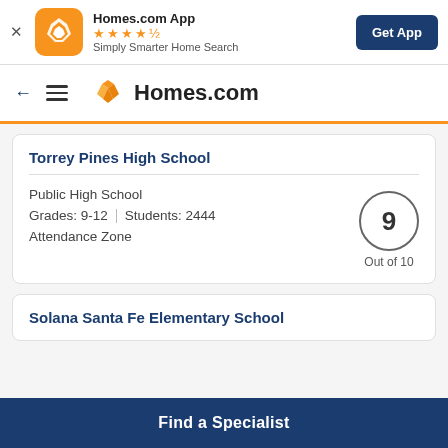[Figure (screenshot): Homes.com App banner with orange app icon, star rating, tagline, and Get App button]
[Figure (logo): Homes.com navigation bar with back arrow, hamburger menu, and Homes.com logo]
Torrey Pines High School
Public High School
Grades: 9-12 | Students: 2444
Attendance Zone
9 Out of 10
Solana Santa Fe Elementary School
Find a Specialist